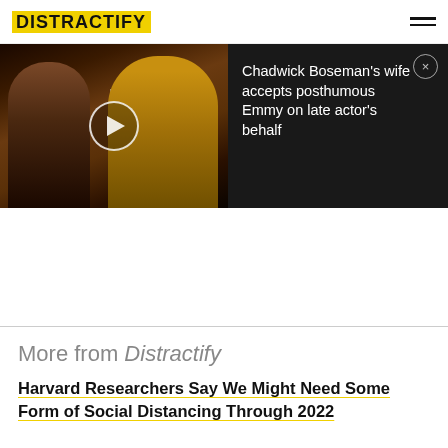DISTRACTIFY
[Figure (screenshot): Video thumbnail showing two people at a Bridge event, with play button overlay and dark panel showing video title text: Chadwick Boseman's wife accepts posthumous Emmy on late actor's behalf]
Chadwick Boseman's wife accepts posthumous Emmy on late actor's behalf
More from Distractify
Harvard Researchers Say We Might Need Some Form of Social Distancing Through 2022